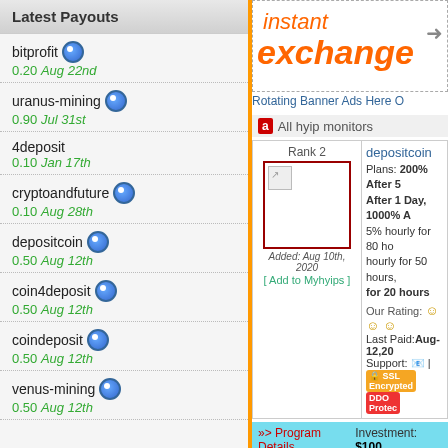Latest Payouts
bitprofit 0.20 Aug 22nd
uranus-mining 0.90 Jul 31st
4deposit 0.10 Jan 17th
cryptoandfuture 0.10 Aug 28th
depositcoin 0.50 Aug 12th
coin4deposit 0.50 Aug 12th
coindeposit 0.50 Aug 12th
venus-mining 0.50 Aug 12th
[Figure (screenshot): Instant exchange banner ad with orange text]
Rotating Banner Ads Here O
All hyip monitors
[Figure (screenshot): depositcoin listing card with Rank 2, image placeholder, Added Aug 10th 2020, Add to Myhyips link, Plans 200% After 5... After 1 Day 1000%... 5% hourly for 80 ho... hourly for 50 hours... for 20 hours, Our Rating, Last Paid Aug-12 2020, Support, SSL Encrypted, DDOS Protected badges]
Investment: $100
>> Program Details
All hyip monitors
coin4deposit